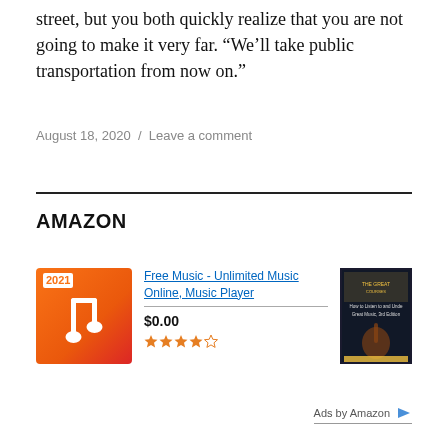street, but you both quickly realize that you are not going to make it very far. “We’ll take public transportation from now on.”
August 18, 2020 / Leave a comment
AMAZON
[Figure (other): Amazon advertisement showing a music app icon (2021, orange/red gradient with music note) and a book cover for 'How to Listen to and Understand Great Music, 3rd Edition'. Product: Free Music - Unlimited Music Online, Music Player. Price: $0.00. Rating: approximately 3.5-4 stars out of 5. Ads by Amazon label at bottom right.]